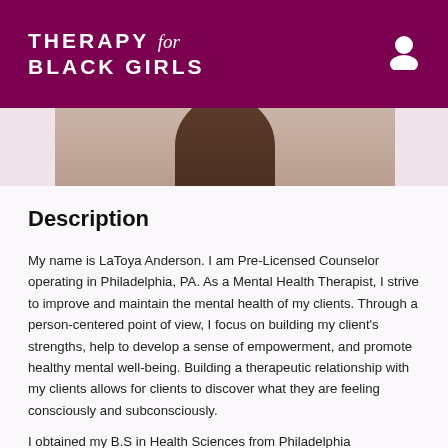THERAPY for BLACK GIRLS
[Figure (photo): Partial photo of a therapist, showing the top of a person's head against a light background]
Description
My name is LaToya Anderson. I am Pre-Licensed Counselor operating in Philadelphia, PA. As a Mental Health Therapist, I strive to improve and maintain the mental health of my clients. Through a person-centered point of view, I focus on building my client's strengths, help to develop a sense of empowerment, and promote healthy mental well-being. Building a therapeutic relationship with my clients allows for clients to discover what they are feeling consciously and subconsciously.
I obtained my B.S in Health Sciences from Philadelphia